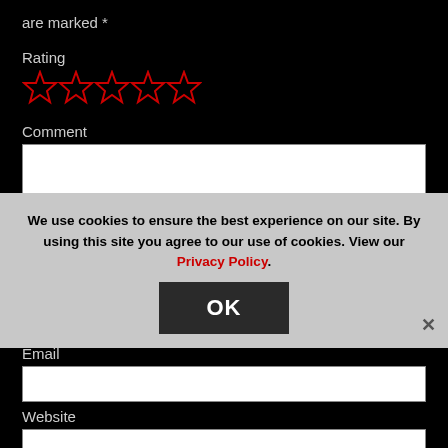are marked *
Rating
[Figure (other): Five red star rating icons (outline stars, unfilled)]
Comment
[Figure (other): Large white text area input box for comment]
Name *
[Figure (other): White single-line text input for Name]
Email
[Figure (other): White single-line text input for Email]
Website
[Figure (other): White single-line text input for Website]
We use cookies to ensure the best experience on our site. By using this site you agree to our use of cookies. View our Privacy Policy.